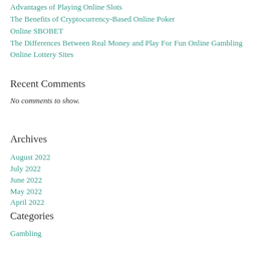Advantages of Playing Online Slots
The Benefits of Cryptocurrency-Based Online Poker
Online SBOBET
The Differences Between Real Money and Play For Fun Online Gambling
Online Lottery Sites
Recent Comments
No comments to show.
Archives
August 2022
July 2022
June 2022
May 2022
April 2022
Categories
Gambling